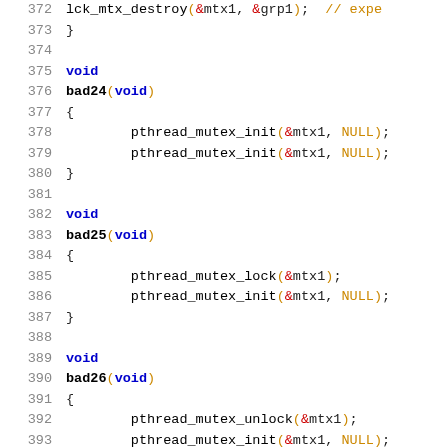372     lck_mtx_destroy(&mtx1, &grp1);  // expe
373 }
374
375 void
376 bad24(void)
377 {
378         pthread_mutex_init(&mtx1, NULL);
379         pthread_mutex_init(&mtx1, NULL);
380 }
381
382 void
383 bad25(void)
384 {
385         pthread_mutex_lock(&mtx1);
386         pthread_mutex_init(&mtx1, NULL);
387 }
388
389 void
390 bad26(void)
391 {
392         pthread_mutex_unlock(&mtx1);
393         pthread_mutex_init(&mtx1, NULL);